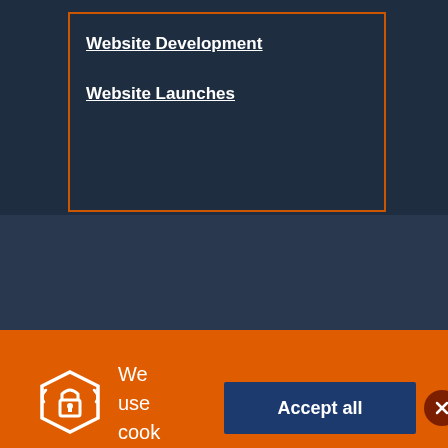Website Development
Website Launches
[Figure (screenshot): Cookie consent banner on orange background with lock shield icon, 'We use cookies on this site' text, 'Accept all' button in dark blue, and a close button]
We use cookies on this site
Advertising
Social Media
Analytics
Essential
Details